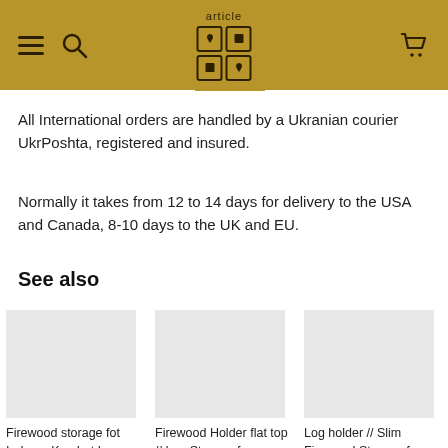article [logo] [hamburger] [search] [cart]
All International orders are handled by a Ukranian courier UkrPoshta, registered and insured.
Normally it takes from 12 to 14 days for delivery to the USA and Canada, 8-10 days to the UK and EU.
See also
Firewood storage fot Indoors Kvadrat Log...
$149.00
Firewood Holder flat top // Log Storage for...
$164.00
Log holder // Slim Firewood Storage f...
$159.00